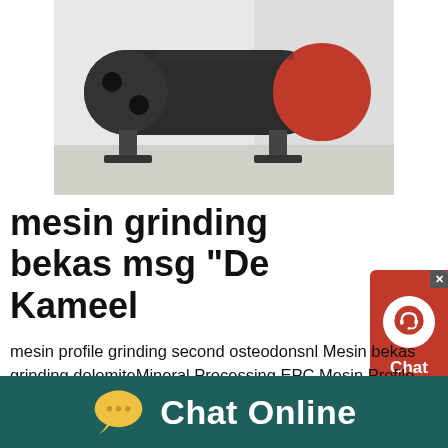[Figure (photo): Industrial ball mill / grinding machine photographed outdoors on a concrete surface. Large cylindrical black drum with red accent ring and gray metal frame supports.]
mesin grinding bekas msg "De Kameel
mesin profile grinding second osteodonsnl Mesin bekas grinding dolomiteMineral Processing EPC Mesin Profile Grinding Second Crusher For Sale mesin profile grinder mesin profile grinding second crusher for sale Grinding is the required powdering or pulverizing process jual mesin profile Crushing grinding mesin crushing grinding Live Chat20 Jul 2016 Mesin Profile Grinding Second Crusher For Sale mesin profile grinding stone Mesin
[Figure (other): Red chat widget button with white headset icon and 'Chat Now' text]